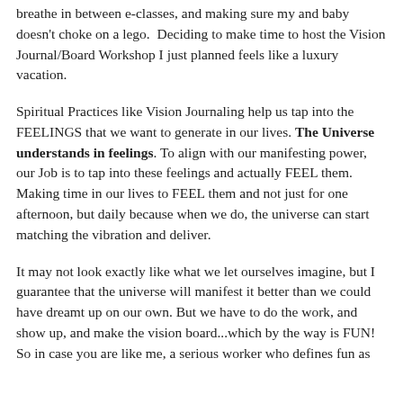breathe in between e-classes, and making sure my and baby doesn't choke on a lego.  Deciding to make time to host the Vision Journal/Board Workshop I just planned feels like a luxury vacation.
Spiritual Practices like Vision Journaling help us tap into the FEELINGS that we want to generate in our lives. The Universe understands in feelings. To align with our manifesting power, our Job is to tap into these feelings and actually FEEL them. Making time in our lives to FEEL them and not just for one afternoon, but daily because when we do, the universe can start matching the vibration and deliver.
It may not look exactly like what we let ourselves imagine, but I guarantee that the universe will manifest it better than we could have dreamt up on our own. But we have to do the work, and show up, and make the vision board...which by the way is FUN! So in case you are like me, a serious worker who defines fun as